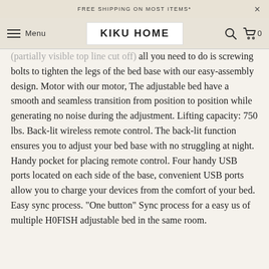FREE SHIPPING ON MOST ITEMS*
KIKU HOME
all you need to do is screwing bolts to tighten the legs of the bed base with our easy-assembly design. Motor with our motor, The adjustable bed have a smooth and seamless transition from position to position while generating no noise during the adjustment. Lifting capacity: 750 lbs. Back-lit wireless remote control. The back-lit function ensures you to adjust your bed base with no struggling at night. Handy pocket for placing remote control. Four handy USB ports located on each side of the base, convenient USB ports allow you to charge your devices from the comfort of your bed. Easy sync process. "One button" Sync process for a easy us of multiple H0FISH adjustable bed in the same room.